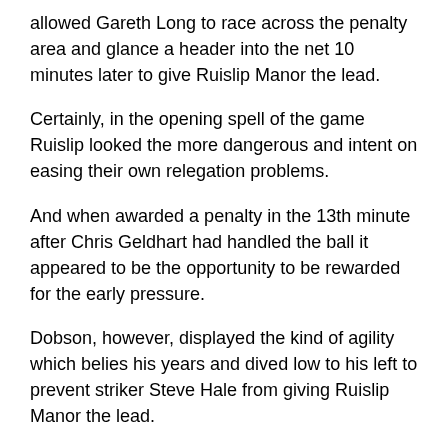allowed Gareth Long to race across the penalty area and glance a header into the net 10 minutes later to give Ruislip Manor the lead.
Certainly, in the opening spell of the game Ruislip looked the more dangerous and intent on easing their own relegation problems.
And when awarded a penalty in the 13th minute after Chris Geldhart had handled the ball it appeared to be the opportunity to be rewarded for the early pressure.
Dobson, however, displayed the kind of agility which belies his years and dived low to his left to prevent striker Steve Hale from giving Ruislip Manor the lead.
The penalty, however, had to be re-taken after referee Chris Turner had seen encroachment into the area, and an exchange of words with Saunders left the Royston player being booked.